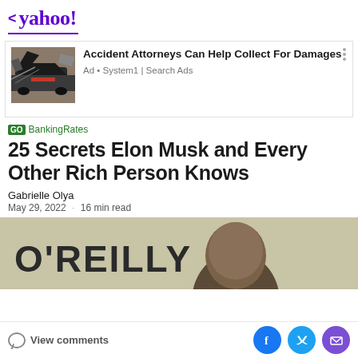< yahoo!
[Figure (screenshot): Advertisement banner: crashed car image with text 'Accident Attorneys Can Help Collect For Damages' - Ad • System1 | Search Ads]
GO BankingRates
25 Secrets Elon Musk and Every Other Rich Person Knows
Gabrielle Olya
May 29, 2022 · 16 min read
[Figure (photo): Partial photo of a person at O'Reilly event, showing head and partial background with O'REILLY text]
View comments